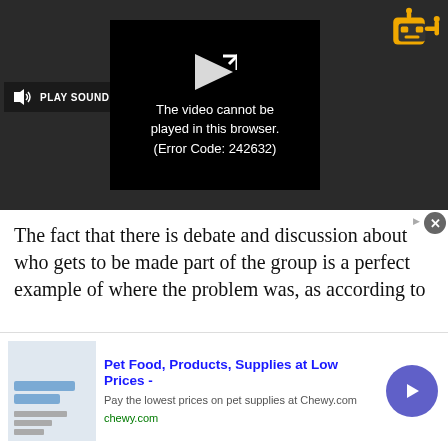[Figure (screenshot): Video player showing error message 'The video cannot be played in this browser. (Error Code: 242632)' with a play sound button on the left and a robot charging icon in the top-right corner.]
The fact that there is debate and discussion about who gets to be made part of the group is a perfect example of where the problem was, as according to Nelson, there really was no "pack" to begin with. He
[Figure (screenshot): Advertisement banner: Pet Food, Products, Supplies at Low Prices - Chewy.com. Pay the lowest prices on pet supplies at Chewy.com. chewy.com]